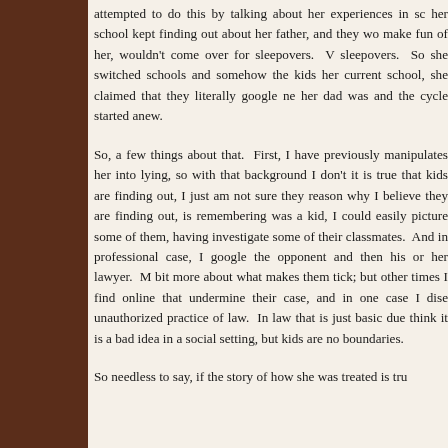attempted to do this by talking about her experiences in sc her school kept finding out about her father, and they wo make fun of her, wouldn't come over for sleepovers. V sleepovers. So she switched schools and somehow the kids her current school, she claimed that they literally google ne her dad was and the cycle started anew.
So, a few things about that. First, I have previously manipulates her into lying, so with that background I don't it is true that kids are finding out, I just am not sure they reason why I believe they are finding out, is remembering was a kid, I could easily picture some of them, having investigate some of their classmates. And in professional case, I google the opponent and then his or her lawyer. M bit more about what makes them tick; but other times I find online that undermine their case, and in one case I dise unauthorized practice of law. In law that is just basic due think it is a bad idea in a social setting, but kids are no boundaries.
So needless to say, if the story of how she was treated is tru